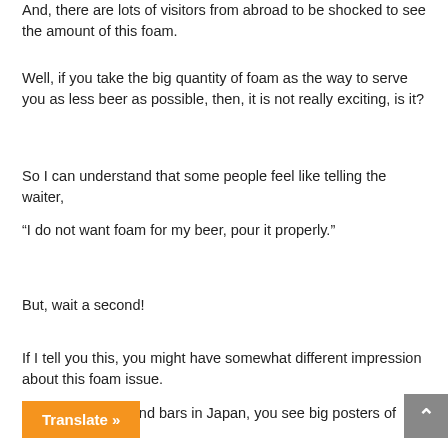And, there are lots of visitors from abroad to be shocked to see the amount of this foam.
Well, if you take the big quantity of foam as the way to serve you as less beer as possible, then, it is not really exciting, is it?
So I can understand that some people feel like telling the waiter,
“I do not want foam for my beer, pour it properly.”
But, wait a second!
If I tell you this, you might have somewhat different impression about this foam issue.
A...afes and bars in Japan, you see big posters of